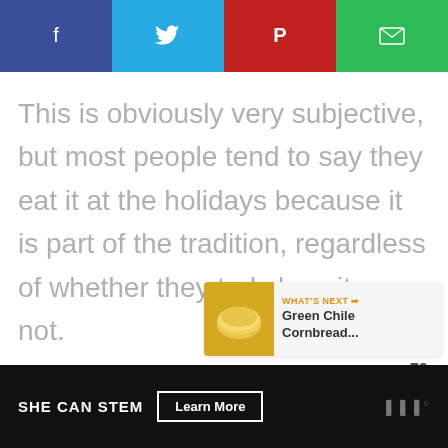[Figure (other): Social share bar with four buttons: Facebook (dark blue), Twitter (light blue), Pinterest (red), Email (green), each with respective icons]
This is obviously very subjective, but most people tend to say they eat it at the holidays because it is part of the tradition, regardless of whether they truly love it or not.
[Figure (other): Green circular heart/like button with count 79 below it, and a share icon button below that]
[Figure (other): What's Next card showing a cornbread image thumbnail with label 'WHAT'S NEXT' and title 'Green Chile Cornbread...']
SHE CAN STEM  Learn More